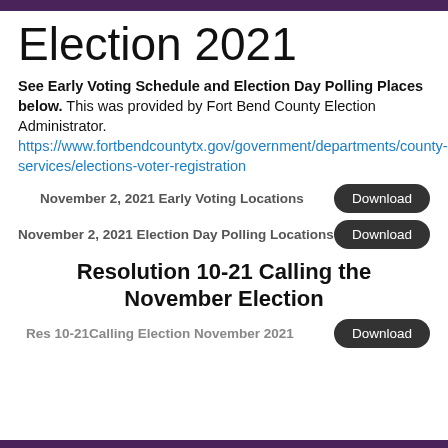Election 2021
See Early Voting Schedule and Election Day Polling Places below. This was provided by Fort Bend County Election Administrator. https://www.fortbendcountytx.gov/government/departments/county-services/elections-voter-registration
November 2, 2021 Early Voting Locations   Download
November 2, 2021 Election Day Polling Locations   Download
Resolution 10-21 Calling the November Election
Res 10-21Calling Election November 2021   Download